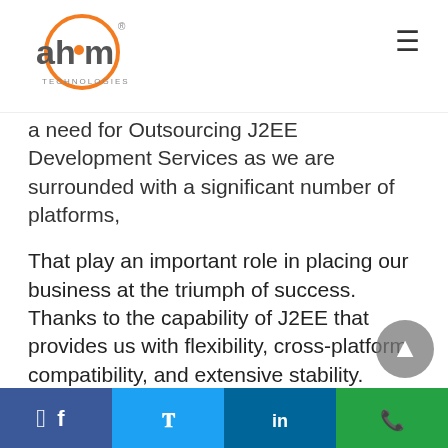ahom TECHNOLOGIES [logo] [hamburger menu]
a need for Outsourcing J2EE Development Services as we are surrounded with a significant number of platforms,
That play an important role in placing our business at the triumph of success. Thanks to the capability of J2EE that provides us with flexibility, cross-platform compatibility, and extensive stability.
At Ahom Technologies Private Limited, we deliver Java outsourcing services that provide the clients with high quality, fault-tolerant applications.
Facebook | Twitter | LinkedIn | WhatsApp